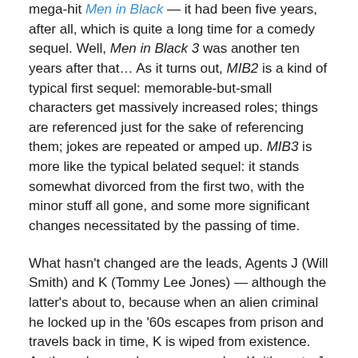mega-hit Men in Black — it had been five years, after all, which is quite a long time for a comedy sequel. Well, Men in Black 3 was another ten years after that… As it turns out, MIB2 is a kind of typical first sequel: memorable-but-small characters get massively increased roles; things are referenced just for the sake of referencing them; jokes are repeated or amped up. MIB3 is more like the typical belated sequel: it stands somewhat divorced from the first two, with the minor stuff all gone, and some more significant changes necessitated by the passing of time.
What hasn't changed are the leads, Agents J (Will Smith) and K (Tommy Lee Jones) — although the latter's about to, because when an alien criminal he locked up in the '60s escapes from prison and travels back in time, K is wiped from existence. As the only one who can remember K, it's up to J to also travel back to the '60s, rescue the younger K (Josh Brolin), and also save the Earth.
MIB3's biggest problem is that it's not funny enough. The first two were sci-fi comedies with the emphasis on the comedy, whereas this is more of a light sci-fi adventure. In